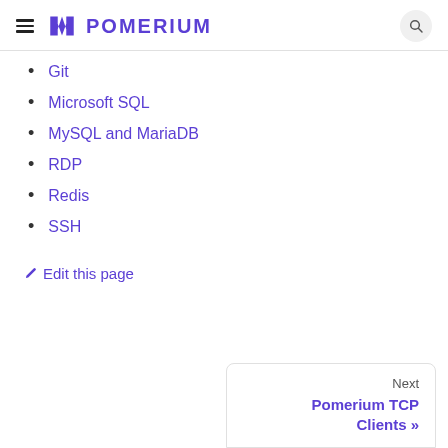Pomerium
Git
Microsoft SQL
MySQL and MariaDB
RDP
Redis
SSH
✏ Edit this page
Next
Pomerium TCP Clients »